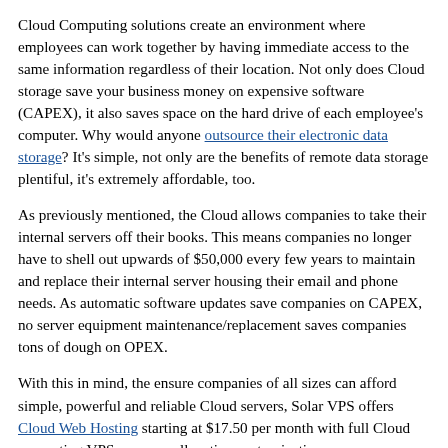Cloud Computing solutions create an environment where employees can work together by having immediate access to the same information regardless of their location. Not only does Cloud storage save your business money on expensive software (CAPEX), it also saves space on the hard drive of each employee's computer. Why would anyone outsource their electronic data storage? It's simple, not only are the benefits of remote data storage plentiful, it's extremely affordable, too.
As previously mentioned, the Cloud allows companies to take their internal servers off their books. This means companies no longer have to shell out upwards of $50,000 every few years to maintain and replace their internal server housing their email and phone needs. As automatic software updates save companies on CAPEX, no server equipment maintenance/replacement saves companies tons of dough on OPEX.
With this in mind, the ensure companies of all sizes can afford simple, powerful and reliable Cloud servers, Solar VPS offers Cloud Web Hosting starting at $17.50 per month with full Cloud computing VPS resource allocation customization:
Memory – 2GB to 16GB
Disk Space – 20GB – 160GB
Bandwidth – 1 TB to 8 TB